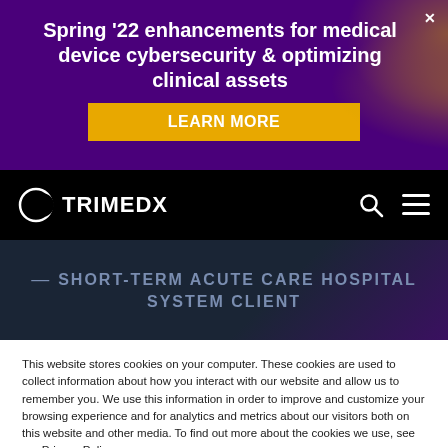Spring '22 enhancements for medical device cybersecurity & optimizing clinical assets
LEARN MORE
[Figure (logo): Trimedx logo — circular crescent icon with TRIMEDX text in white on black navbar background]
— SHORT-TERM ACUTE CARE HOSPITAL SYSTEM CLIENT
This website stores cookies on your computer. These cookies are used to collect information about how you interact with our website and allow us to remember you. We use this information in order to improve and customize your browsing experience and for analytics and metrics about our visitors both on this website and other media. To find out more about the cookies we use, see our Privacy Policy
Accept All